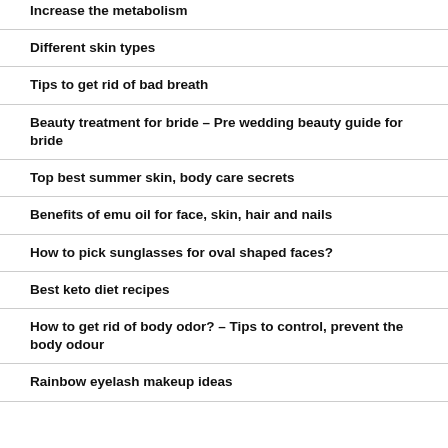Increase the metabolism
Different skin types
Tips to get rid of bad breath
Beauty treatment for bride – Pre wedding beauty guide for bride
Top best summer skin, body care secrets
Benefits of emu oil for face, skin, hair and nails
How to pick sunglasses for oval shaped faces?
Best keto diet recipes
How to get rid of body odor? – Tips to control, prevent the body odour
Rainbow eyelash makeup ideas